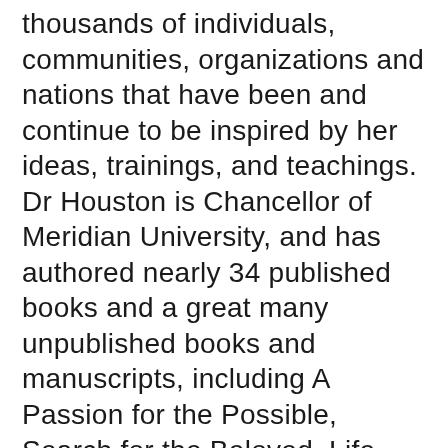thousands of individuals, communities, organizations and nations that have been and continue to be inspired by her ideas, trainings, and teachings. Dr Houston is Chancellor of Meridian University, and has authored nearly 34 published books and a great many unpublished books and manuscripts, including A Passion for the Possible, Search for the Beloved, Life Force, The Possible Human, A Mythic Life: Learning to Live Our Greater Story, Jump Time, Manual of the Peacemaker, The Wizard of Us: Transformational Lessons From Oz, What is Consciousness, and soon to be published The